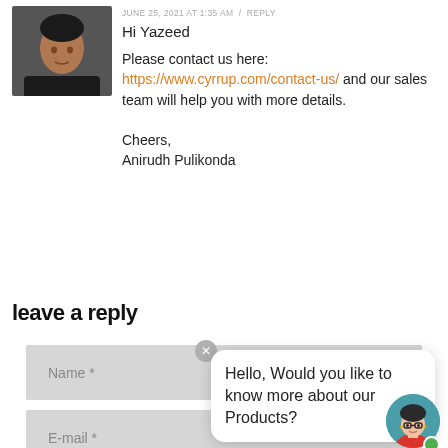[Figure (photo): Avatar/profile photo of a man in black shirt, cropped top-left]
JUNE 25, 2021 AT 1:35 AM / REPLY
Hi Yazeed
Please contact us here: https://www.cyrrup.com/contact-us/ and our sales team will help you with more details.

Cheers,
Anirudh Pulikonda
leave a reply
Name *
E-mail *
[Figure (screenshot): Chat widget popup with illustrated female avatar and message: Hello, Would you like to know more about our Products?]